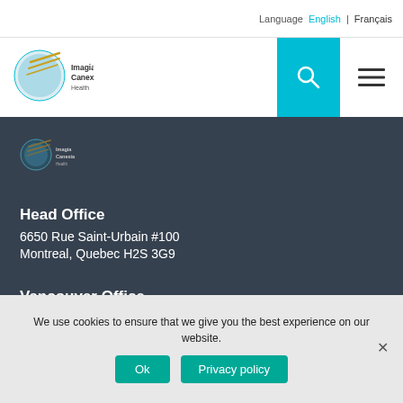Language  English | Français
[Figure (logo): Imagia Canexia Health logo with teal circle graphic and golden diagonal lines]
[Figure (logo): Imagia Canexia Health small logo in dark header section]
Head Office
6650 Rue Saint-Urbain #100
Montreal, Quebec H2S 3G9
Vancouver Office
Suite #1 – 3661 4th Ave W
Vancouver, BC  V6R 1P2
We use cookies to ensure that we give you the best experience on our website.